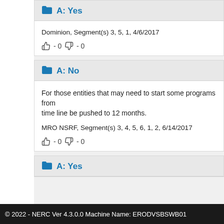A: Yes
Dominion, Segment(s) 3, 5, 1, 4/6/2017
👍 - 0 👎 - 0
A: No
For those entities that may need to start some programs from time line be pushed to 12 months.
MRO NSRF, Segment(s) 3, 4, 5, 6, 1, 2, 6/14/2017
👍 - 0 👎 - 0
A: Yes
© 2022 - NERC Ver 4.3.0.0 Machine Name: ERODVSBSWB01